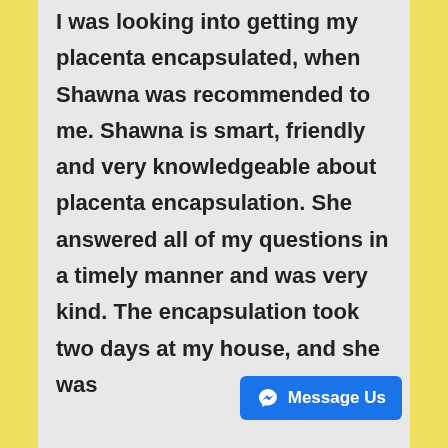I was looking into getting my placenta encapsulated, when Shawna was recommended to me. Shawna is smart, friendly and very knowledgeable about placenta encapsulation. She answered all of my questions in a timely manner and was very kind. The encapsulation took two days at my house, and she was
[Figure (screenshot): Facebook Messenger 'Message Us' button overlay in bottom-right corner]